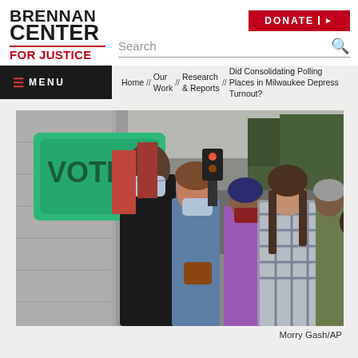[Figure (logo): Brennan Center For Justice logo — black bold text for BRENNAN CENTER, red bold text for FOR JUSTICE with red top border]
[Figure (other): Red DONATE button with arrow]
Search
MENU
Home // Our Work // Research & Reports // Did Consolidating Polling Places in Milwaukee Depress Turnout?
[Figure (photo): People wearing face masks standing in line to vote outdoors near a green VOTE directional sign with an arrow. Photo taken during COVID-19 pandemic at a polling location.]
Morry Gash/AP